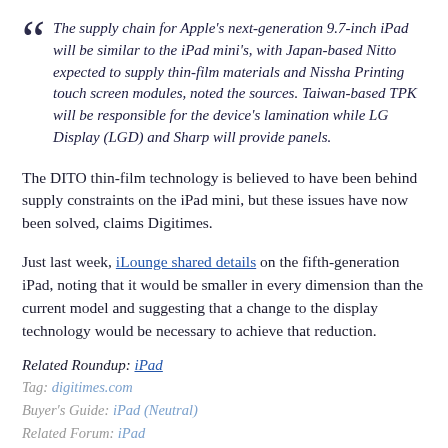The supply chain for Apple's next-generation 9.7-inch iPad will be similar to the iPad mini's, with Japan-based Nitto expected to supply thin-film materials and Nissha Printing touch screen modules, noted the sources. Taiwan-based TPK will be responsible for the device's lamination while LG Display (LGD) and Sharp will provide panels.
The DITO thin-film technology is believed to have been behind supply constraints on the iPad mini, but these issues have now been solved, claims Digitimes.
Just last week, iLounge shared details on the fifth-generation iPad, noting that it would be smaller in every dimension than the current model and suggesting that a change to the display technology would be necessary to achieve that reduction.
Related Roundup: iPad
Tag: digitimes.com
Buyer's Guide: iPad (Neutral)
Related Forum: iPad